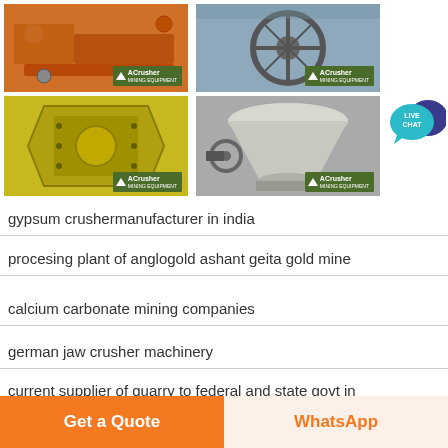[Figure (photo): Four mining crusher machine photos in a 2x2 grid, each branded with ACrusher Mining Equipment logo. Top-left: orange crusher machine. Top-right: large crusher wheel/flywheel. Bottom-left: yellow impact crusher. Bottom-right: cone crusher in white/grey.]
[Figure (infographic): Live Chat speech bubble icon in teal/blue on the right side]
gypsum crushermanufacturer in india
procesing plant of anglogold ashant geita gold mine
calcium carbonate mining companies
german jaw crusher machinery
current supplier of quarry to federal and state govt in
Get a Quote | WhatsApp